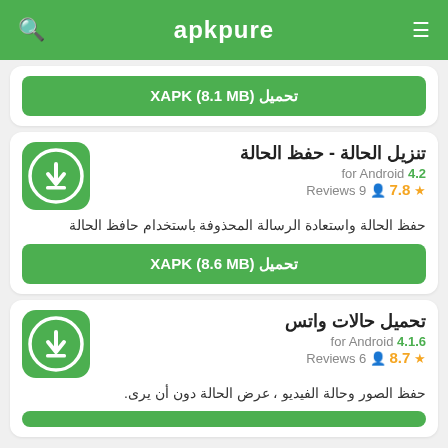apkpure
تحميل XAPK (8.1 MB)
تنزيل الحالة - حفظ الحالة
for Android 4.2
Reviews 9  7.8 ★
حفظ الحالة واستعادة الرسالة المحذوفة باستخدام حافظ الحالة
تحميل XAPK (8.6 MB)
تحميل حالات واتس
for Android 4.1.6
Reviews 6  8.7 ★
حفظ الصور وحالة الفيديو ، عرض الحالة دون أن يرى.
تحميل ...